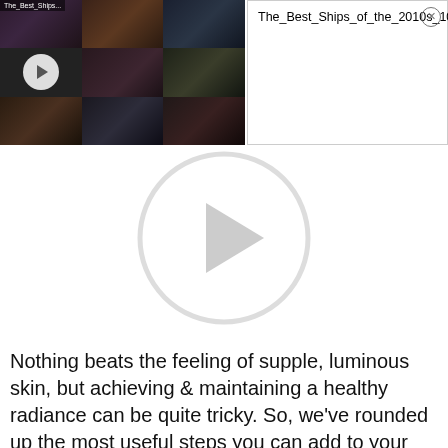[Figure (screenshot): Video thumbnail grid showing 'The_Best_Ships...' with 9 cells in a 3x3 grid, center cell has a circular play button, surrounding cells show film stills]
The_Best_Ships_of_the_2010s_1080p
[Figure (other): Large circular play button outline with right-pointing triangle inside, on white background]
Nothing beats the feeling of supple, luminous skin, but achieving & maintaining a healthy radiance can be quite tricky. So, we've rounded up the most useful steps you can add to your skin